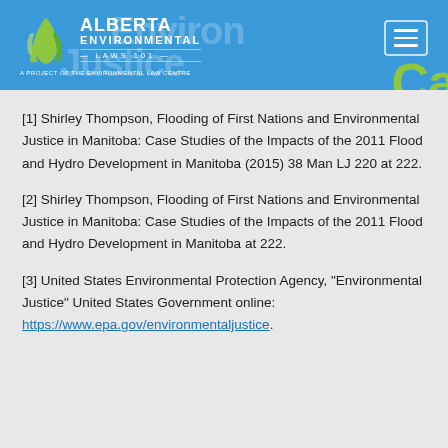[Figure (logo): Alberta Environmental Laws 101 logo — a project of the Environmental Law Centre, on a blue header banner with hamburger menu icon]
[1] Shirley Thompson, Flooding of First Nations and Environmental Justice in Manitoba: Case Studies of the Impacts of the 2011 Flood and Hydro Development in Manitoba (2015) 38 Man LJ 220 at 222.
[2] Shirley Thompson, Flooding of First Nations and Environmental Justice in Manitoba: Case Studies of the Impacts of the 2011 Flood and Hydro Development in Manitoba at 222.
[3] United States Environmental Protection Agency, "Environmental Justice" United States Government online: https://www.epa.gov/environmentaljustice.